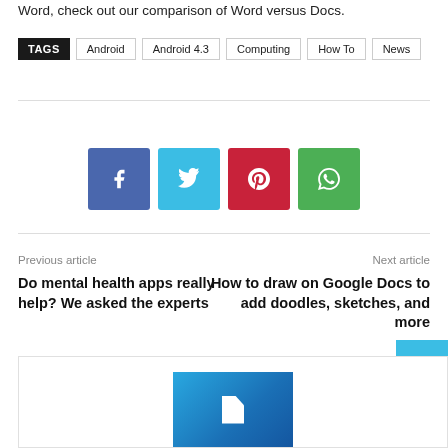Word, check out our comparison of Word versus Docs.
TAGS  Android  Android 4.3  Computing  How To  News
[Figure (infographic): Row of four social sharing buttons: Facebook (blue), Twitter (light blue), Pinterest (red), WhatsApp (green)]
Previous article
Next article
Do mental health apps really help? We asked the experts
How to draw on Google Docs to add doodles, sketches, and more
[Figure (screenshot): Advertisement box at the bottom with a blue gradient image]